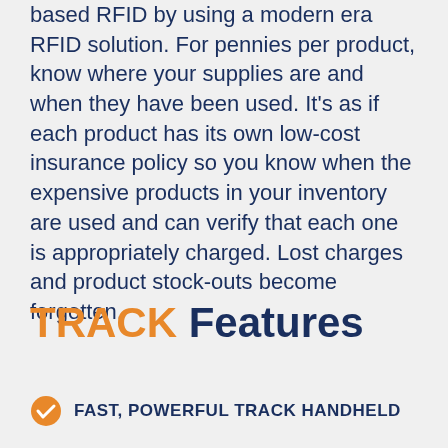based RFID by using a modern era RFID solution. For pennies per product, know where your supplies are and when they have been used. It's as if each product has its own low-cost insurance policy so you know when the expensive products in your inventory are used and can verify that each one is appropriately charged. Lost charges and product stock-outs become forgotten.
TRACK Features
FAST, POWERFUL TRACK HANDHELD